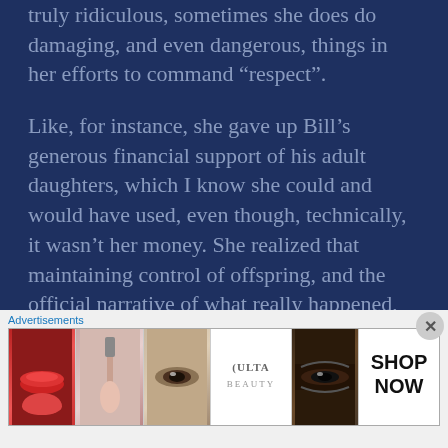truly ridiculous, sometimes she does do damaging, and even dangerous, things in her efforts to command “respect”.
Like, for instance, she gave up Bill’s generous financial support of his adult daughters, which I know she could and would have used, even though, technically, it wasn’t her money. She realized that maintaining control of offspring, and the official narrative of what really happened, was more important to her than access to Bill’s
Advertisements
[Figure (photo): Advertisement banner showing Ulta Beauty ad with close-up images of makeup: lips with lipstick, makeup brush, eye with makeup, Ulta logo, eye with dramatic makeup, and SHOP NOW text.]